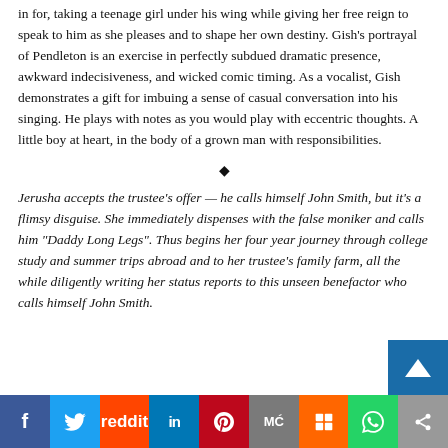in for, taking a teenage girl under his wing while giving her free reign to speak to him as she pleases and to shape her own destiny. Gish's portrayal of Pendleton is an exercise in perfectly subdued dramatic presence, awkward indecisiveness, and wicked comic timing. As a vocalist, Gish demonstrates a gift for imbuing a sense of casual conversation into his singing. He plays with notes as you would play with eccentric thoughts. A little boy at heart, in the body of a grown man with responsibilities.
♦
Jerusha accepts the trustee's offer — he calls himself John Smith, but it's a flimsy disguise. She immediately dispenses with the false moniker and calls him "Daddy Long Legs". Thus begins her four year journey through college study and summer trips abroad and to her trustee's family farm, all the while diligently writing her status reports to this unseen benefactor who calls himself John Smith.